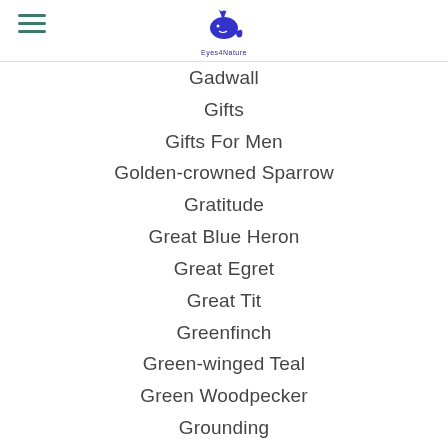Eyes4Nature logo and navigation menu
Gadwall
Gifts
Gifts For Men
Golden-crowned Sparrow
Gratitude
Great Blue Heron
Great Egret
Great Tit
Greenfinch
Green-winged Teal
Green Woodpecker
Grounding
Gulf Fritillary
Harlequin Duck
Hawaii
Hawk
Healing
Hike